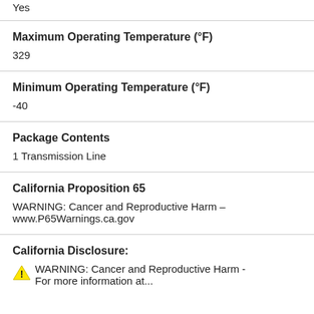| Yes |
| Maximum Operating Temperature (°F) | 329 |
| Minimum Operating Temperature (°F) | -40 |
| Package Contents | 1 Transmission Line |
| California Proposition 65 | WARNING: Cancer and Reproductive Harm – www.P65Warnings.ca.gov |
| California Disclosure: | WARNING: Cancer and Reproductive Harm - For more information at... |